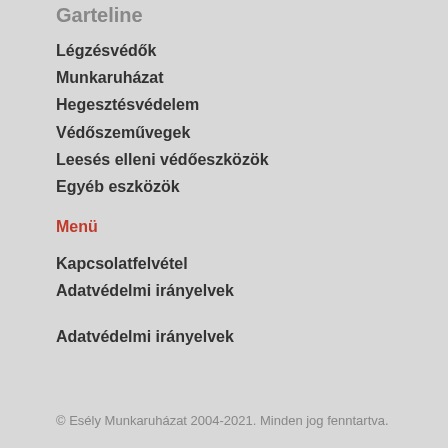Garteline
Légzésvédők
Munkaruházat
Hegesztésvédelem
Védőszeművegek
Leesés elleni védőeszközök
Egyéb eszközök
Menü
Kapcsolatfelvétel
Adatvédelmi irányelvek
Adatvédelmi irányelvek
© Esély Munkaruházat 2004-2021. Minden jog fenntartva.